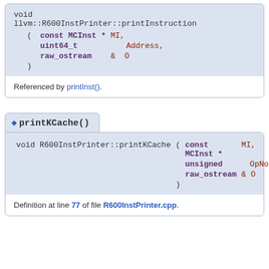void llvm::R600InstPrinter::printInstruction ( const MCInst * MI, uint64_t Address, raw_ostream & O )
Referenced by printInst().
printKCache()
void R600InstPrinter::printKCache ( const MCInst * MI, unsigned OpNo, raw_ostream & O )
Definition at line 77 of file R600InstPrinter.cpp.